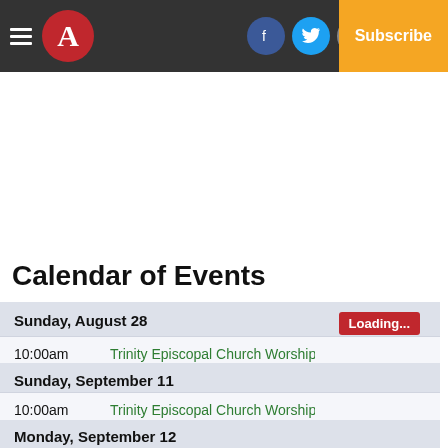Navigation bar with hamburger menu, A logo, Facebook, Twitter, Email icons, Log In, Subscribe
Calendar of Events
Sunday, August 28 — 10:00am Trinity Episcopal Church Worshi
Sunday, September 11 — 10:00am Trinity Episcopal Church Worshi
Monday, September 12 — 4:00pm Atmore City Council Meeting
Sunday, September 25 — 10:00am Trinity Episcopal Church Worshi